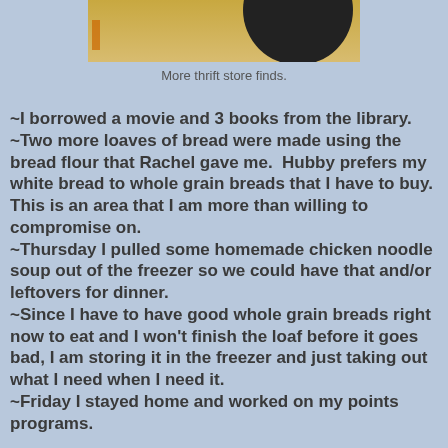[Figure (photo): Photo of thrift store finds — wooden surface with dark round object]
More thrift store finds.
~I borrowed a movie and 3 books from the library. ~Two more loaves of bread were made using the bread flour that Rachel gave me.  Hubby prefers my white bread to whole grain breads that I have to buy.  This is an area that I am more than willing to compromise on. ~Thursday I pulled some homemade chicken noodle soup out of the freezer so we could have that and/or leftovers for dinner. ~Since I have to have good whole grain breads right now to eat and I won't finish the loaf before it goes bad, I am storing it in the freezer and just taking out what I need when I need it. ~Friday I stayed home and worked on my points programs.